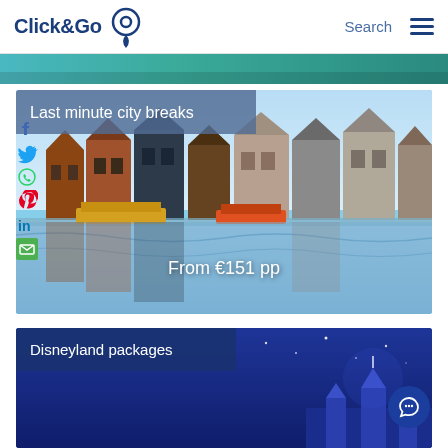Click&Go — Search (navigation header with logo and hamburger menu)
[Figure (screenshot): Top image strip showing teal/turquoise water scene]
[Figure (photo): Amsterdam canal with traditional Dutch buildings and colorful houseboats reflected in water]
Last minute city breaks
From €151 pp
[Figure (photo): Disneyland packages promotional card with dark blue background showing Disneyland castle]
Disneyland packages